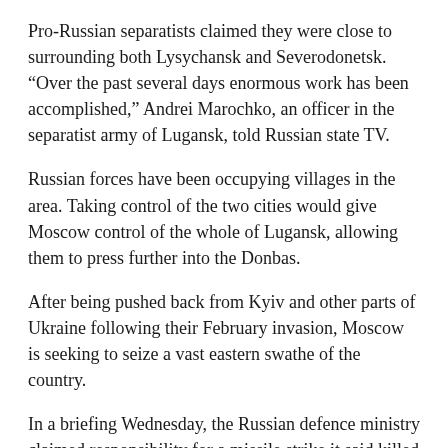Pro-Russian separatists claimed they were close to surrounding both Lysychansk and Severodonetsk. “Over the past several days enormous work has been accomplished,” Andrei Marochko, an officer in the separatist army of Lugansk, told Russian state TV.
Russian forces have been occupying villages in the area. Taking control of the two cities would give Moscow control of the whole of Lugansk, allowing them to press further into the Donbas.
After being pushed back from Kyiv and other parts of Ukraine following their February invasion, Moscow is seeking to seize a vast eastern swathe of the country.
In a briefing Wednesday, the Russian defence ministry claimed responsibility for a missile strike it said killed a number of Ukrainian troops in southern Mykolaiv.
City mayor Oleksandr Senkevych told Ukrainian television that